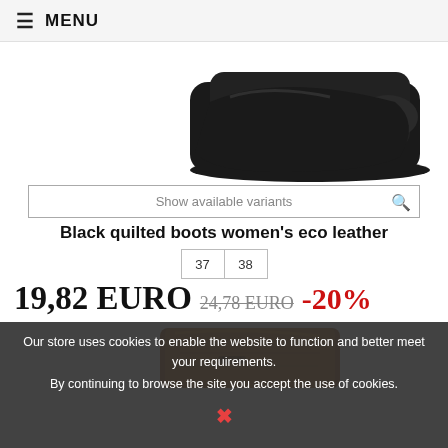≡ MENU
[Figure (photo): Bottom portion of black quilted women's boots on white background]
Show available variants
Black quilted boots women's eco leather
37  38
19,82 EURO  24,78 EURO  -20%
[Figure (photo): Brown leather women's knee-high boot on white background]
Our store uses cookies to enable the website to function and better meet your requirements.
By continuing to browse the site you accept the use of cookies.